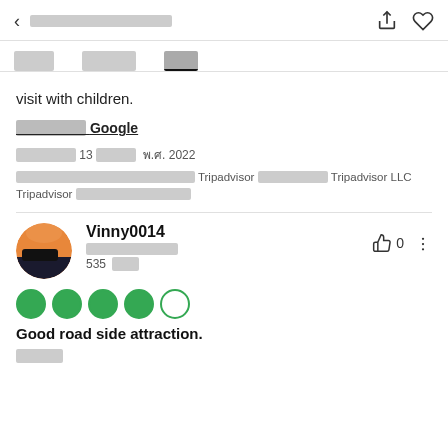< [Thai text] [share icon] [heart icon]
[Tab bar with Thai text tabs, third tab active]
visit with children.
[Thai text] Google
[Thai date text] 13 [Thai month] พ.ศ. 2022
[Thai disclaimer text] Tripadvisor [Thai text] Tripadvisor LLC Tripadvisor [Thai text]
Vinny0014
[Thai location], [Thai region]
535 [Thai word for reviews]
[Figure (other): Avatar image of Vinny0014 showing an orange/dark landscape scene]
Good road side attraction.
[Thai text]